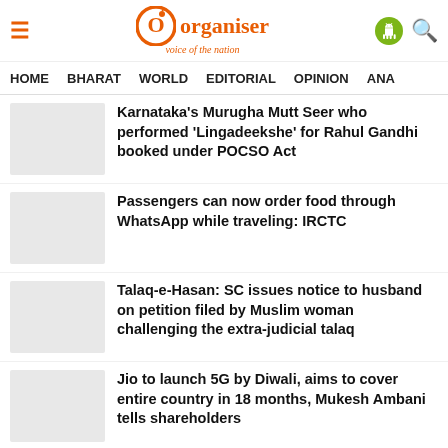Organiser - Voice of the Nation
HOME   BHARAT   WORLD   EDITORIAL   OPINION   ANA
Karnataka's Murugha Mutt Seer who performed 'Lingadeekshe' for Rahul Gandhi booked under POCSO Act
Passengers can now order food through WhatsApp while traveling: IRCTC
Talaq-e-Hasan: SC issues notice to husband on petition filed by Muslim woman challenging the extra-judicial talaq
Jio to launch 5G by Diwali, aims to cover entire country in 18 months, Mukesh Ambani tells shareholders